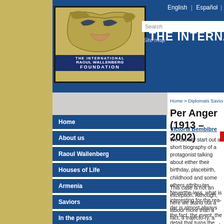THE INTERNATIONAL RAOUL WALLENBERG FOUNDATION — Header with logo, navigation language links (English | Español), search box, site map
[Figure (logo): The International Raoul Wallenberg Foundation logo — golden background with illustrated face, text 'THE INTERNATIONAL RAOUL WALLENBERG FOUNDATION']
THE INTERNATIONAL
English | Español |
Search
Site map
Home > Diplomats Saviors > Per Anger (1913 □...
Per Anger (1913 – 2002)
Victoria Bembibre
Home
About us
Raoul Wallenberg
Houses of Life
Armenia
Saviors
In the press
E-Books
Films and books
Education
We usually start out a short biography of a protagonist talking about either their birthday, placebirth, childhood and some others attributes. Neverthe-less, what is interesting for the reader is almost always the fact, the event, the detail that turns the person into a personage.
This case is not an exception. Although, here we stand out a labour more than a fact, a trajectory, a construction in one of the worst ages of the human history. Then, we stand out the person oneself, because the significant here is that we are talking about a saviour. Maybe an accidental or destined one, but this saviour has to do more with what, where, when, and espe-cially why...